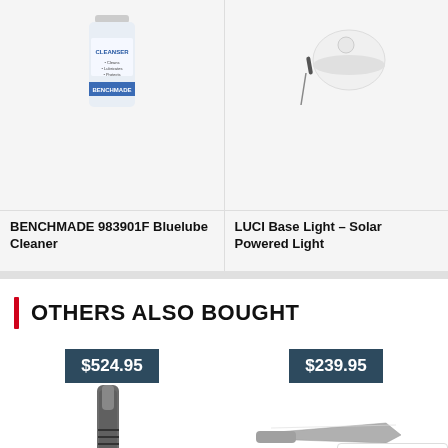[Figure (photo): Product image of BENCHMADE 983901F Bluelube Cleaner bottle]
BENCHMADE 983901F Bluelube Cleaner
[Figure (photo): Product image of LUCI Base Light - Solar Powered Light]
LUCI Base Light – Solar Powered Light
OTHERS ALSO BOUGHT
[Figure (photo): Product image priced at $524.95 - appears to be a tactical tool/lighter]
[Figure (photo): Product image priced at $239.95 - appears to be a folding knife]